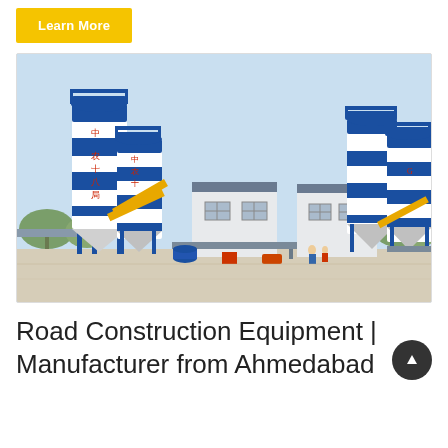Learn More
[Figure (photo): Concrete batching plant / road construction equipment with tall blue and white cylindrical silos, blue steel framework, prefabricated site office buildings, and yellow conveyors on a paved outdoor site. Chinese text visible on silos.]
Road Construction Equipment | Manufacturer from Ahmedabad